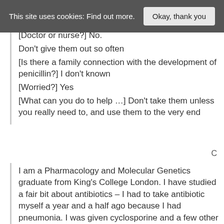This site uses cookies: Find out more.  Okay, thank you
[Doctor or nurse?] No.
Don't give them out so often
[Is there a family connection with the development of penicillin?] I don't known
[Worried?] Yes
[What can you do to help …] Don't take them unless you really need to, and use them to the very end
C
I am a Pharmacology and Molecular Genetics graduate from King's College London. I have studied a fair bit about antibiotics – I had to take antibiotic myself a year and a half ago because I had pneumonia. I was given cyclosporine and a few other drugs I cannot